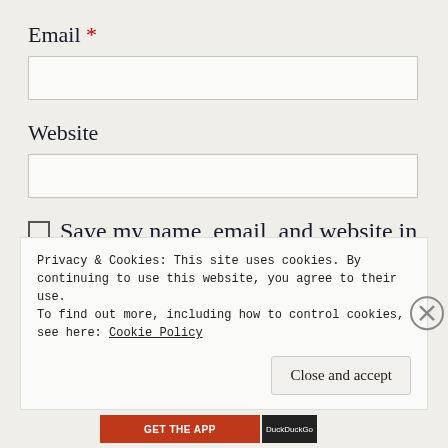Email *
[Figure (other): Empty text input field for Email]
Website
[Figure (other): Empty text input field for Website]
Save my name, email, and website in this browser for the next time I comment.
Post Comment
Privacy & Cookies: This site uses cookies. By continuing to use this website, you agree to their use.
To find out more, including how to control cookies, see here: Cookie Policy
Close and accept